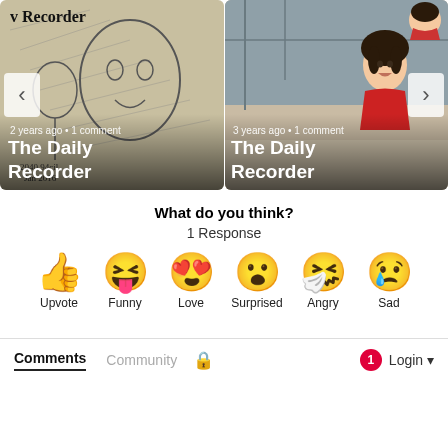[Figure (screenshot): Two image cards carousel: left card shows a pencil sketch drawing with 'The Daily Recorder' text and '2 years ago • 1 comment', right card shows a photo of a woman smiling with 'The Daily Recorder' text and '3 years ago • 1 comment'. Navigation arrows visible on each side.]
What do you think?
1 Response
[Figure (infographic): Six reaction emoji buttons: Upvote (thumbs up), Funny (laughing tongue face), Love (heart eyes), Surprised (open mouth), Angry (sick/drooling face), Sad (crying face)]
Comments   Community   🔒   1   Login ▾